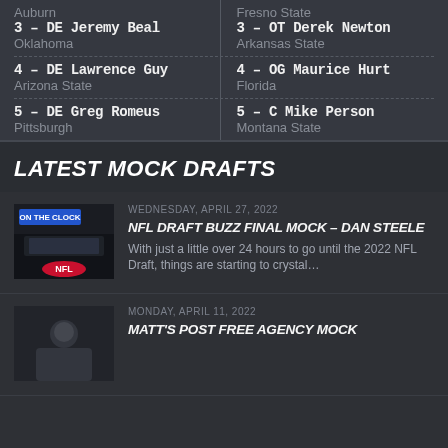Auburn / 3 - DE Jeremy Beal / Oklahoma | Fresno State / 3 - OT Derek Newton / Arkansas State
4 - DE Lawrence Guy / Arizona State | 4 - OG Maurice Hurt / Florida
5 - DE Greg Romeus / Pittsburgh | 5 - C Mike Person / Montana State
LATEST MOCK DRAFTS
WEDNESDAY, APRIL 27, 2022
NFL DRAFT BUZZ FINAL MOCK - DAN STEELE
With just a little over 24 hours to go until the 2022 NFL Draft, things are starting to crystal...
MONDAY, APRIL 11, 2022
MATT'S POST FREE AGENCY MOCK